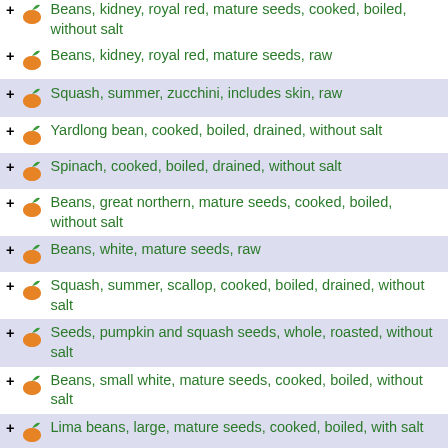+ Beans, kidney, royal red, mature seeds, cooked, boiled, without salt
+ Beans, kidney, royal red, mature seeds, raw
+ Squash, summer, zucchini, includes skin, raw
+ Yardlong bean, cooked, boiled, drained, without salt
+ Spinach, cooked, boiled, drained, without salt
+ Beans, great northern, mature seeds, cooked, boiled, without salt
+ Beans, white, mature seeds, raw
+ Squash, summer, scallop, cooked, boiled, drained, without salt
+ Seeds, pumpkin and squash seeds, whole, roasted, without salt
+ Beans, small white, mature seeds, cooked, boiled, without salt
+ Lima beans, large, mature seeds, cooked, boiled, with salt
+ Beans, navy, mature seeds, raw